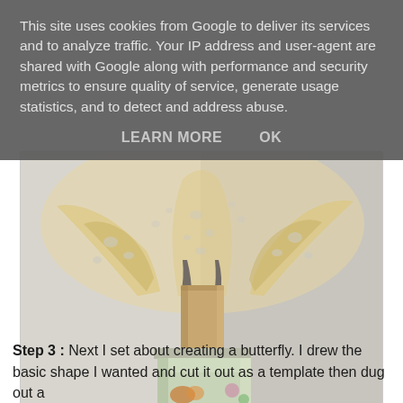This site uses cookies from Google to deliver its services and to analyze traffic. Your IP address and user-agent are shared with Google along with performance and security metrics to ensure quality of service, generate usage statistics, and to detect and address abuse.
LEARN MORE    OK
[Figure (photo): A decorative craft piece showing lace or crocheted material arranged in a fan/butterfly shape, placed on top of a cardboard tube roll, which sits on a decorative tin box with butterfly and floral motifs, on a light background.]
Step 3 : Next I set about creating a butterfly. I drew the basic shape I wanted and cut it out as a template then dug out a